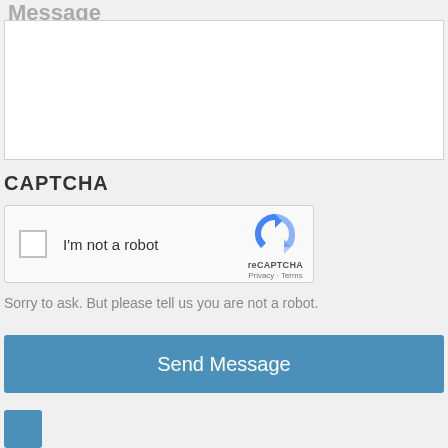Message
[Figure (screenshot): Empty message text area input field]
CAPTCHA
[Figure (screenshot): reCAPTCHA widget with checkbox 'I'm not a robot' and reCAPTCHA logo with Privacy and Terms links]
Sorry to ask. But please tell us you are not a robot.
Send Message